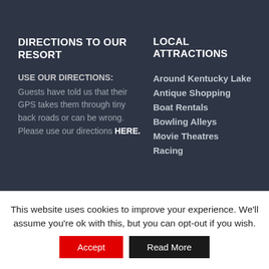DIRECTIONS TO OUR RESORT
USE OUR DIRECTIONS:
Guests have told us that their GPS takes them through tiny back roads or can be wrong. Please use our directions HERE.
LOCAL ATTRACTIONS
Around Kentucky Lake
Antique Shopping
Boat Rentals
Bowling Alleys
Movie Theatres
Racing
This website uses cookies to improve your experience. We'll assume you're ok with this, but you can opt-out if you wish.
Accept | Read More